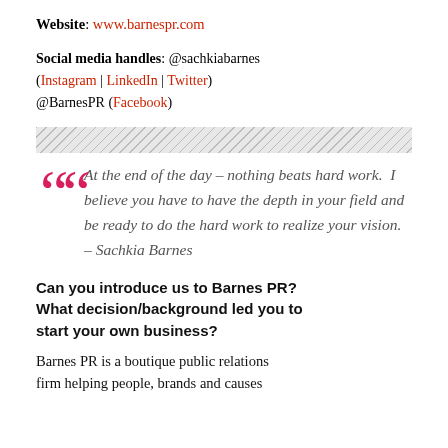Website: www.barnespr.com
Social media handles: @sachkiabarnes (Instagram | LinkedIn | Twitter) @BarnesPR (Facebook)
[Figure (other): Diagonal hatched pattern decorative bar]
At the end of the day – nothing beats hard work.  I believe you have to have the depth in your field and be ready to do the hard work to realize your vision. – Sachkia Barnes
Can you introduce us to Barnes PR? What decision/background led you to start your own business?
Barnes PR is a boutique public relations firm helping people, brands and causes